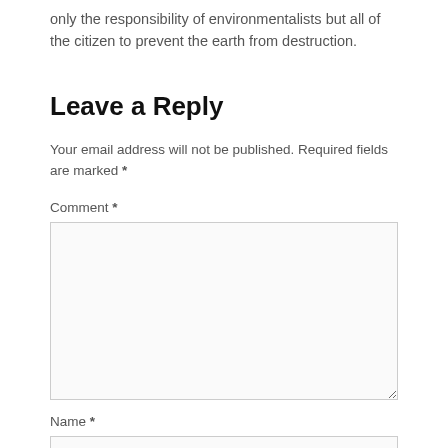only the responsibility of environmentalists but all of the citizen to prevent the earth from destruction.
Leave a Reply
Your email address will not be published. Required fields are marked *
Comment *
Name *